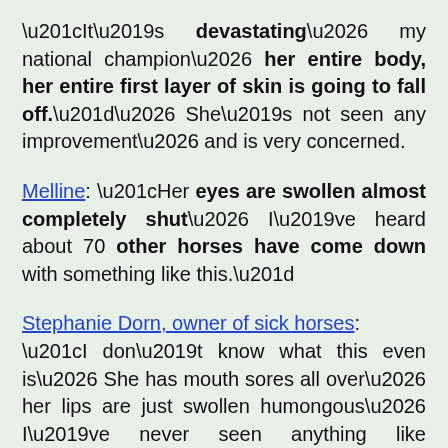“It’s devastating… my national champion… her entire body, her entire first layer of skin is going to fall off.”… She’s not seen any improvement… and is very concerned.
Melline: “Her eyes are swollen almost completely shut… I’ve heard about 70 other horses have come down with something like this.”
Stephanie Dorn, owner of sick horses: “I don’t know what this even is… She has mouth sores all over… her lips are just swollen humongous… I’ve never seen anything like this… Nobody will even tell us what it is… it’s